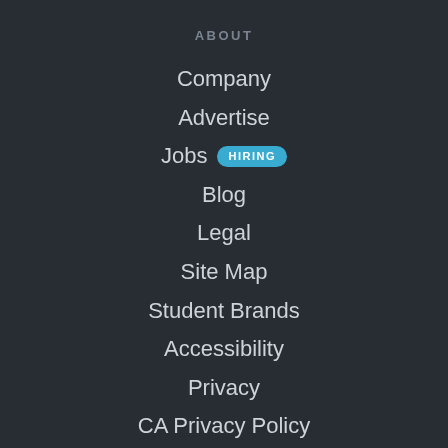ABOUT
Company
Advertise
Jobs  HIRING
Blog
Legal
Site Map
Student Brands
Accessibility
Privacy
CA Privacy Policy
SUPPORT
Help